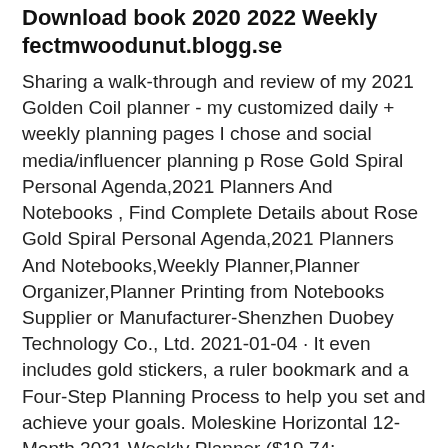Download book 2020 2022 Weekly fectmwoodunut.blogg.se
Sharing a walk-through and review of my 2021 Golden Coil planner - my customized daily + weekly planning pages I chose and social media/influencer planning p Rose Gold Spiral Personal Agenda,2021 Planners And Notebooks , Find Complete Details about Rose Gold Spiral Personal Agenda,2021 Planners And Notebooks,Weekly Planner,Planner Organizer,Planner Printing from Notebooks Supplier or Manufacturer-Shenzhen Duobey Technology Co., Ltd. 2021-01-04 · It even includes gold stickers, a ruler bookmark and a Four-Step Planning Process to help you set and achieve your goals. Moleskine Horizontal 12-Month 2021 Weekly Planner ($19.74;